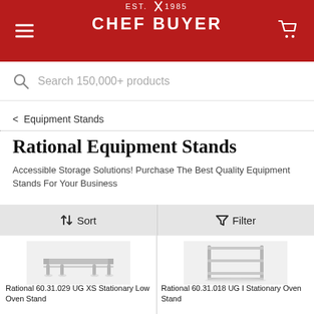EST. 1985 CHEF BUYER
Search 150,000+ products
< Equipment Stands
Rational Equipment Stands
Accessible Storage Solutions! Purchase The Best Quality Equipment Stands For Your Business
↑↓ Sort   ▽ Filter
[Figure (photo): Low oven stand with four legs, metallic silver finish]
Rational 60.31.029 UG XS Stationary Low Oven Stand
[Figure (photo): Tall stationary oven stand with multiple shelves, metallic silver finish]
Rational 60.31.018 UG I Stationary Oven Stand